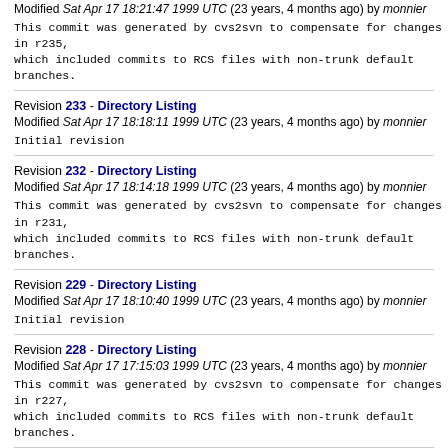Modified Sat Apr 17 18:21:47 1999 UTC (23 years, 4 months ago) by monnier
This commit was generated by cvs2svn to compensate for changes in r235,
which included commits to RCS files with non-trunk default branches.
Revision 233 - Directory Listing
Modified Sat Apr 17 18:18:11 1999 UTC (23 years, 4 months ago) by monnier
Initial revision
Revision 232 - Directory Listing
Modified Sat Apr 17 18:14:18 1999 UTC (23 years, 4 months ago) by monnier
This commit was generated by cvs2svn to compensate for changes in r231,
which included commits to RCS files with non-trunk default branches.
Revision 229 - Directory Listing
Modified Sat Apr 17 18:10:40 1999 UTC (23 years, 4 months ago) by monnier
Initial revision
Revision 228 - Directory Listing
Modified Sat Apr 17 17:15:03 1999 UTC (23 years, 4 months ago) by monnier
This commit was generated by cvs2svn to compensate for changes in r227,
which included commits to RCS files with non-trunk default branches.
Revision 225 - Directory Listing
Modified Sat Apr 17 17:09:01 1999 UTC (23 years, 4 months ago) by monnier